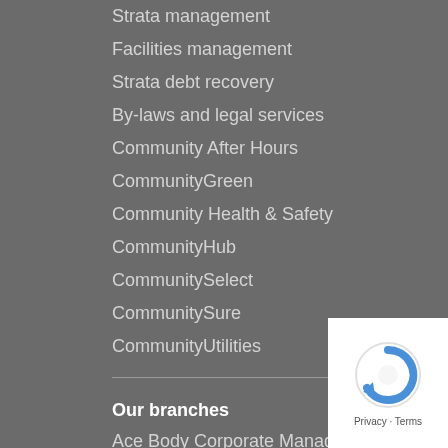Strata management
Facilities management
Strata debt recovery
By-laws and legal services
Community After Hours
CommunityGreen
Community Health & Safety
CommunityHub
CommunitySelect
CommunitySure
CommunityUtilities
Our branches
Ace Body Corporate Management
All Strata Services
Body Corporate Services
[Figure (logo): reCAPTCHA badge with Privacy and Terms text]